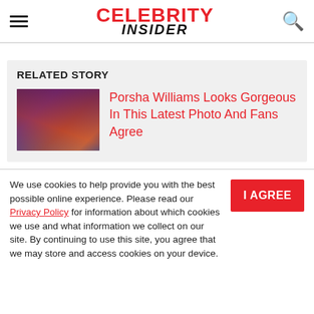CELEBRITY INSIDER
RELATED STORY
[Figure (photo): Thumbnail photo of Porsha Williams on a TV show set]
Porsha Williams Looks Gorgeous In This Latest Photo And Fans Agree
We use cookies to help provide you with the best possible online experience. Please read our Privacy Policy for information about which cookies we use and what information we collect on our site. By continuing to use this site, you agree that we may store and access cookies on your device.